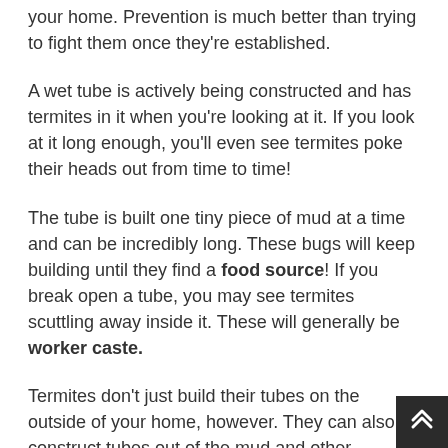your home. Prevention is much better than trying to fight them once they're established.
A wet tube is actively being constructed and has termites in it when you're looking at it. If you look at it long enough, you'll even see termites poke their heads out from time to time!
The tube is built one tiny piece of mud at a time and can be incredibly long. These bugs will keep building until they find a food source! If you break open a tube, you may see termites scuttling away inside it. These will generally be worker caste.
Termites don't just build their tubes on the outside of your home, however. They can also construct tubes out of the mud and other materials inside your home, if they're on any material that's not conducive to making tunnels.